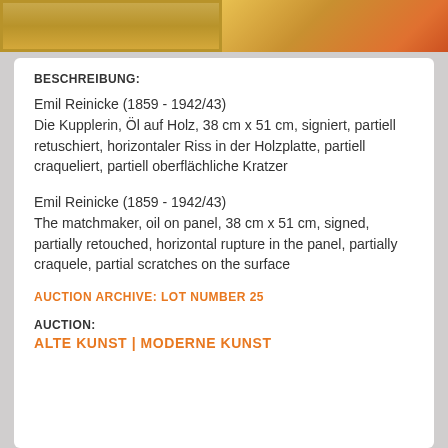[Figure (photo): Top left: painting in ornate gold frame, warm golden-brown tones]
[Figure (photo): Top right: detail of painting with orange and golden tones]
BESCHREIBUNG:
Emil Reinicke (1859 - 1942/43)
Die Kupplerin, Öl auf Holz, 38 cm x 51 cm, signiert, partiell retuschiert, horizontaler Riss in der Holzplatte, partiell craqueliert, partiell oberflächliche Kratzer
Emil Reinicke (1859 - 1942/43)
The matchmaker, oil on panel, 38 cm x 51 cm, signed, partially retouched, horizontal rupture in the panel, partially craquele, partial scratches on the surface
AUCTION ARCHIVE: LOT NUMBER 25
AUCTION:
ALTE KUNST | MODERNE KUNST